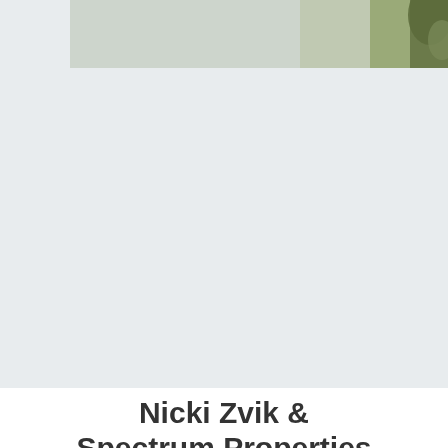[Figure (photo): Partial photo strip at top showing a light greenish-gray background with some foliage or plant detail visible at the right edge]
Nicki Zvik & Spectrum Properties